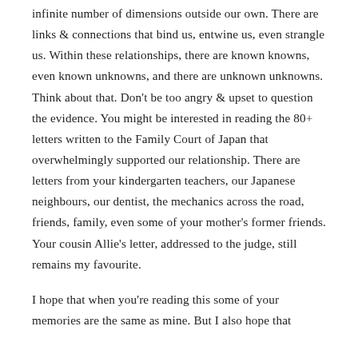infinite number of dimensions outside our own. There are links & connections that bind us, entwine us, even strangle us. Within these relationships, there are known knowns, even known unknowns, and there are unknown unknowns. Think about that. Don't be too angry & upset to question the evidence. You might be interested in reading the 80+ letters written to the Family Court of Japan that overwhelmingly supported our relationship. There are letters from your kindergarten teachers, our Japanese neighbours, our dentist, the mechanics across the road, friends, family, even some of your mother's former friends. Your cousin Allie's letter, addressed to the judge, still remains my favourite.
I hope that when you're reading this some of your memories are the same as mine. But I also hope that